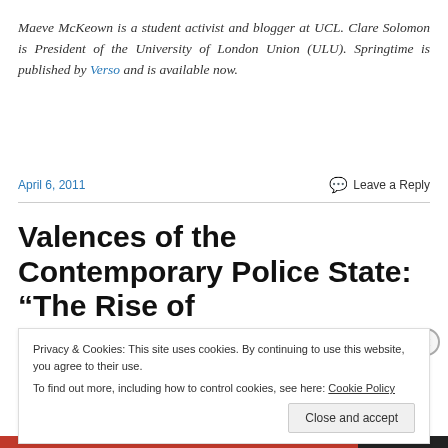Maeve McKeown is a student activist and blogger at UCL. Clare Solomon is President of the University of London Union (ULU). Springtime is published by Verso and is available now.
April 6, 2011
Leave a Reply
Valences of the Contemporary Police State: “The Rise of
Privacy & Cookies: This site uses cookies. By continuing to use this website, you agree to their use.
To find out more, including how to control cookies, see here: Cookie Policy
Close and accept